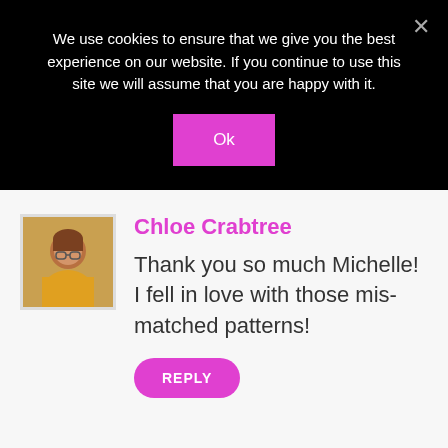We use cookies to ensure that we give you the best experience on our website. If you continue to use this site we will assume that you are happy with it.
Ok
Chloe Crabtree
Thank you so much Michelle! I fell in love with those mis-matched patterns!
REPLY